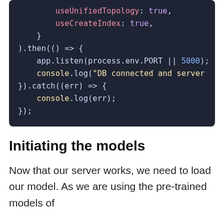[Figure (screenshot): Dark-themed code block showing JavaScript/Node.js code with syntax highlighting. Contains useUnifiedTopology, useCreateIndex, .then(), app.listen, console.log, .catch, and closing brackets.]
Initiating the models
Now that our server works, we need to load our model. As we are using the pre-trained models of